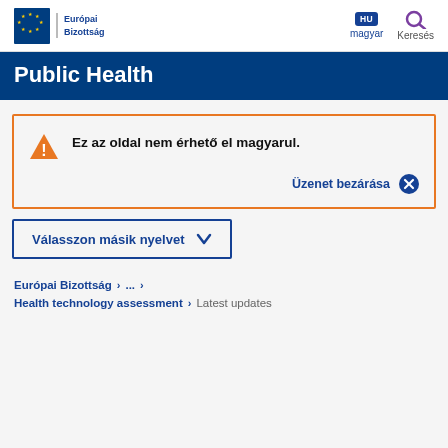[Figure (logo): European Commission logo with EU stars and 'Európai Bizottság' text]
Public Health
Ez az oldal nem érhető el magyarul.
Üzenet bezárása
Válasszon másik nyelvet
Európai Bizottság > ... >
Health technology assessment > Latest updates